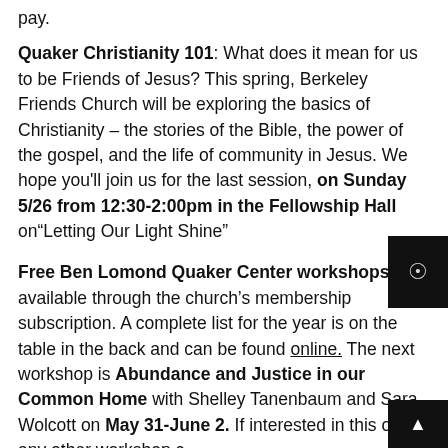pay.
Quaker Christianity 101: What does it mean for us to be Friends of Jesus? This spring, Berkeley Friends Church will be exploring the basics of Christianity – the stories of the Bible, the power of the gospel, and the life of community in Jesus. We hope you'll join us for the last session, on Sunday 5/26 from 12:30-2:00pm in the Fellowship Hall on“Letting Our Light Shine”
Free Ben Lomond Quaker Center workshops are available through the church’s membership subscription.  A complete list for the year is on the table in the back and can be found online.  The next workshop is Abundance and Justice in our Common Home with Shelley Tanenbaum and Sara Wolcott on May 31-June 2.  If interested in this or any other workshop c